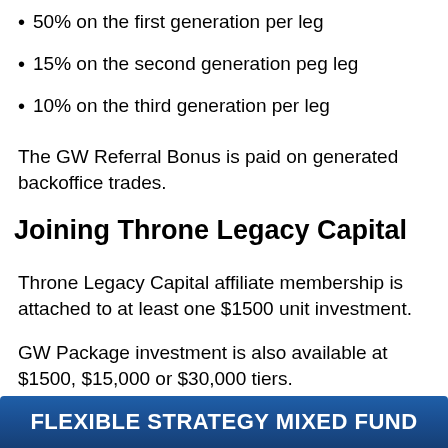50% on the first generation per leg
15% on the second generation peg leg
10% on the third generation per leg
The GW Referral Bonus is paid on generated backoffice trades.
Joining Throne Legacy Capital
Throne Legacy Capital affiliate membership is attached to at least one $1500 unit investment.
GW Package investment is also available at $1500, $15,000 or $30,000 tiers.
[Figure (infographic): Dark blue banner with bold white text reading FLEXIBLE STRATEGY MIXED FUND]